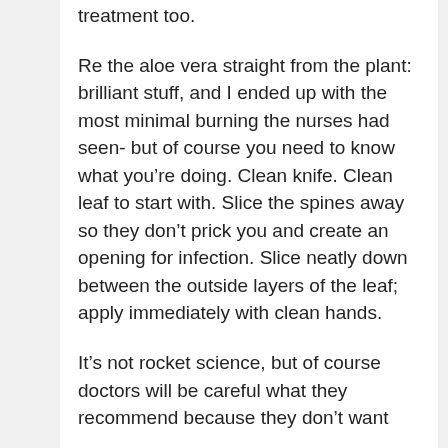treatment too.
Re the aloe vera straight from the plant: brilliant stuff, and I ended up with the most minimal burning the nurses had seen- but of course you need to know what you’re doing. Clean knife. Clean leaf to start with. Slice the spines away so they don’t prick you and create an opening for infection. Slice neatly down between the outside layers of the leaf; apply immediately with clean hands.
It’s not rocket science, but of course doctors will be careful what they recommend because they don’t want